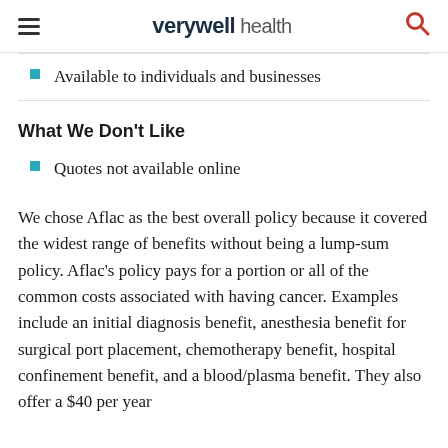verywell health
Available to individuals and businesses
What We Don't Like
Quotes not available online
We chose Aflac as the best overall policy because it covered the widest range of benefits without being a lump-sum policy. Aflac's policy pays for a portion or all of the common costs associated with having cancer. Examples include an initial diagnosis benefit, anesthesia benefit for surgical port placement, chemotherapy benefit, hospital confinement benefit, and a blood/plasma benefit. They also offer a $40 per year